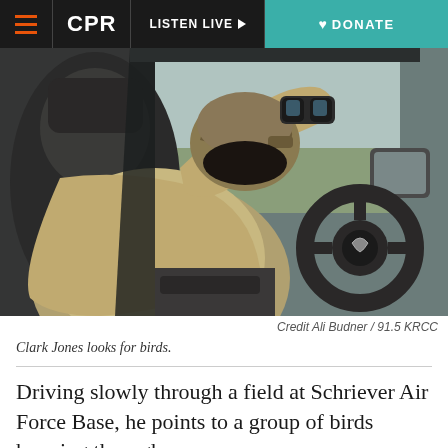CPR | LISTEN LIVE ▶ | DONATE
[Figure (photo): A person wearing a khaki shirt and cap, viewed from behind, looking out the window of a truck (Ram pickup). The person holds binoculars up to their face. The truck's steering wheel and side mirror are visible. Outside the window is a flat open field.]
Credit Ali Budner / 91.5 KRCC
Clark Jones looks for birds.
Driving slowly through a field at Schriever Air Force Base, he points to a group of birds hopping through